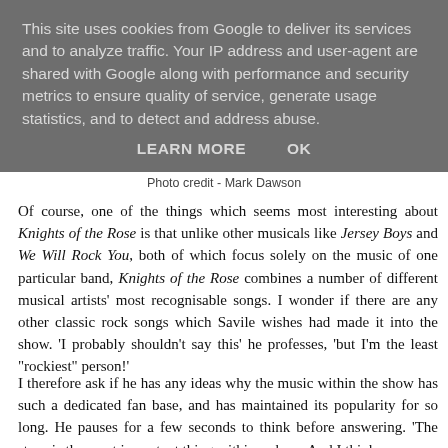This site uses cookies from Google to deliver its services and to analyze traffic. Your IP address and user-agent are shared with Google along with performance and security metrics to ensure quality of service, generate usage statistics, and to detect and address abuse.
LEARN MORE   OK
Photo credit - Mark Dawson
Of course, one of the things which seems most interesting about Knights of the Rose is that unlike other musicals like Jersey Boys and We Will Rock You, both of which focus solely on the music of one particular band, Knights of the Rose combines a number of different musical artists' most recognisable songs. I wonder if there are any other classic rock songs which Savile wishes had made it into the show. 'I probably shouldn't say this' he professes, 'but I'm the least "rockiest" person!'
I therefore ask if he has any ideas why the music within the show has such a dedicated fan base, and has maintained its popularity for so long. He pauses for a few seconds to think before answering. 'The story is the most important thing within a show. And I think